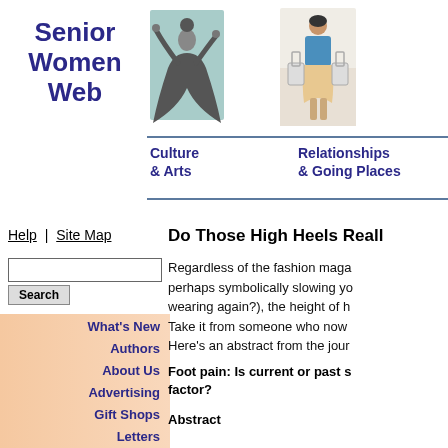Senior Women Web
[Figure (illustration): Illustration of a woman dancing in a dark flowing dress]
[Figure (illustration): Illustration of a woman in blue holding shopping bags]
Culture & Arts
Relationships & Going Places
Help  |  Site Map
What's New
Authors
About Us
Advertising
Gift Shops
Letters
Do Those High Heels Reall
Regardless of the fashion maga perhaps symbolically slowing yo wearing again?), the height of h Take it from someone who now
Here's an abstract from the jour
Foot pain: Is current or past s factor?
Abstract